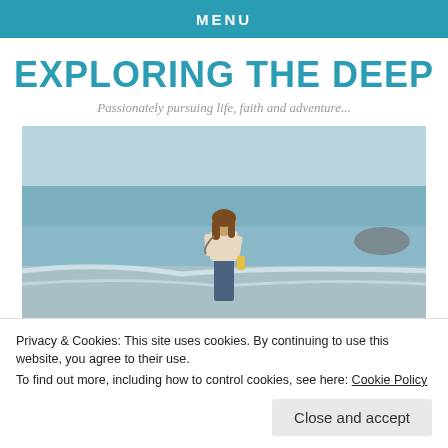MENU
EXPLORING THE DEEP
Passionately pursuing life, faith and adventure...
[Figure (photo): A woman standing at the edge of the ocean on a beach, with waves around her feet, carrying something in her hand. Bright daylight, wide-angle view of the shoreline.]
Privacy & Cookies: This site uses cookies. By continuing to use this website, you agree to their use.
To find out more, including how to control cookies, see here: Cookie Policy
Close and accept